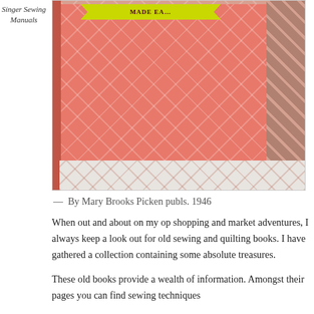Singer Sewing Manuals
[Figure (photo): Photo of a pink sewing book with diamond/quilted pattern cover design, lying on a white quilt background. The book cover shows sewing-related icons like scissors and spools. A yellow starburst banner is visible at the top.]
— By Mary Brooks Picken publs. 1946
When out and about on my op shopping and market adventures, I always keep a look out for old sewing and quilting books. I have gathered a collection containing some absolute treasures.
These old books provide a wealth of information. Amongst their pages you can find sewing techniques